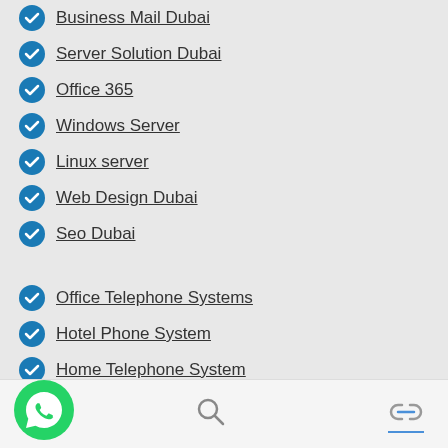Business Mail Dubai
Server Solution Dubai
Office 365
Windows Server
Linux server
Web Design Dubai
Seo Dubai
Office Telephone Systems
Hotel Phone System
Home Telephone System
PABX System
IP Telephony
IP PBX System
Call Center Solutions
Contact Center Solutions